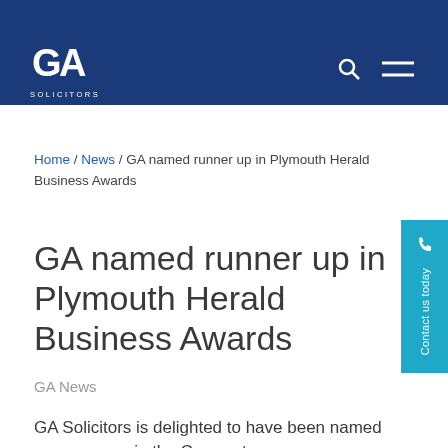GA Solicitors
Home / News / GA named runner up in Plymouth Herald Business Awards
GA named runner up in Plymouth Herald Business Awards
GA News
GA Solicitors is delighted to have been named as runner up in the Corporate